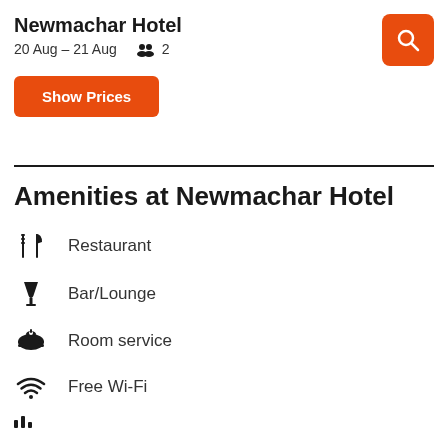Newmachar Hotel
20 Aug – 21 Aug   👥 2
Show Prices
Amenities at Newmachar Hotel
Restaurant
Bar/Lounge
Room service
Free Wi-Fi